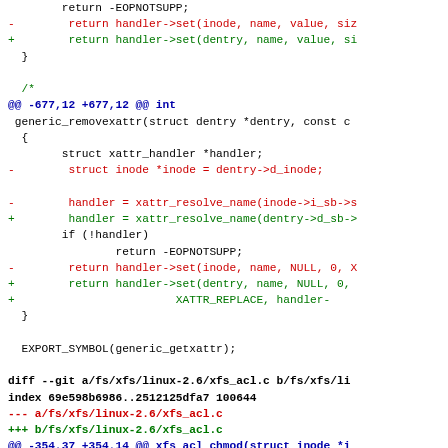[Figure (screenshot): A unified diff (git patch) showing code changes in C source files. The diff shows modifications to generic_removexattr and xfs_acl_chmod functions, replacing inode-based parameters with dentry-based parameters. Color coded: black for context, red for removed lines, green for added lines, blue/bold for hunk headers and diff metadata.]